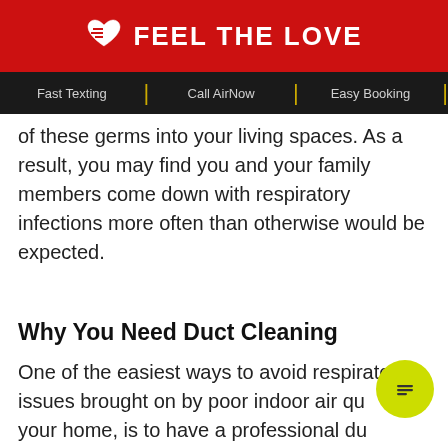FEEL THE LOVE
Fast Texting | Call AirNow | Easy Booking
of these germs into your living spaces. As a result, you may find you and your family members come down with respiratory infections more often than otherwise would be expected.
Why You Need Duct Cleaning
One of the easiest ways to avoid respiratory issues brought on by poor indoor air quality in your home, is to have a professional duct cleaning every three years, at a minimum.